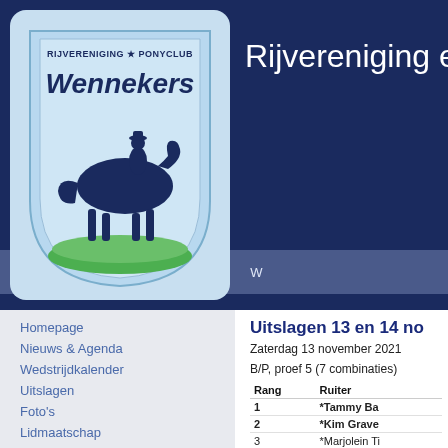[Figure (logo): Rijvereniging Ponyclub Wennekers shield logo — blue shield with horse and rider silhouette, green grass at bottom, text 'Rijvereniging Ponyclub Wennekers' at top]
Rijvereniging en P
Homepage   Nieuws & Agenda   W
Homepage
Nieuws & Agenda
Wedstrijdkalender
Uitslagen
Foto's
Lidmaatschap
Contact
Login
Uitslagen 13 en 14 no
Zaterdag 13 november 2021
B/P, proef 5 (7 combinaties)
| Rang | Ruiter |
| --- | --- |
| 1 | *Tammy Ba |
| 2 | *Kim Grave |
| 3 | *Marjolein Ti |
| 4 | Amber Schri |